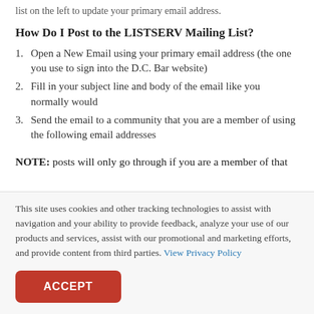list on the left to update your primary email address.
How Do I Post to the LISTSERV Mailing List?
Open a New Email using your primary email address (the one you use to sign into the D.C. Bar website)
Fill in your subject line and body of the email like you normally would
Send the email to a community that you are a member of using the following email addresses
NOTE: posts will only go through if you are a member of that
This site uses cookies and other tracking technologies to assist with navigation and your ability to provide feedback, analyze your use of our products and services, assist with our promotional and marketing efforts, and provide content from third parties. View Privacy Policy
ACCEPT